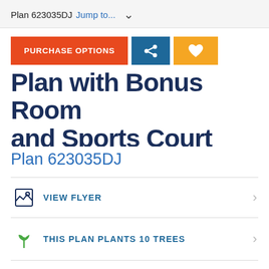Plan 623035DJ  Jump to...
PURCHASE OPTIONS
Plan with Bonus Room and Sports Court Options
Plan 623035DJ
VIEW FLYER
THIS PLAN PLANTS 10 TREES